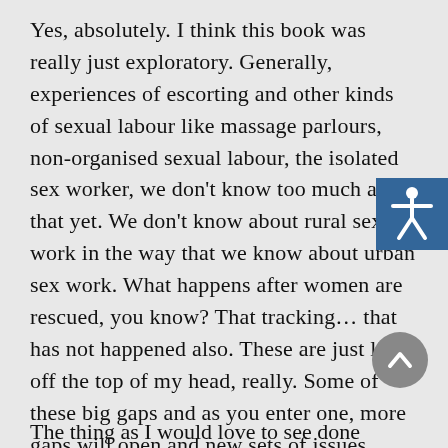Yes, absolutely. I think this book was really just exploratory. Generally, experiences of escorting and other kinds of sexual labour like massage parlours, non-organised sexual labour, the isolated sex worker, we don't know too much about that yet. We don't know about rural sex work in the way that we know about urban sex work. What happens after women are rescued, you know? That tracking… that has not happened also. These are just like off the top of my head, really. Some of these big gaps and as you enter one, more gaps will open and new sets of issues.
The thing as I would love to see done